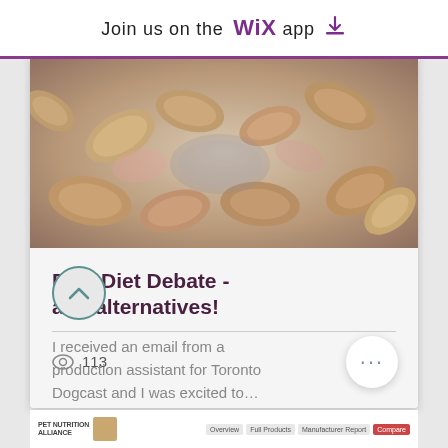Join us on the WiX app ⬇
[Figure (photo): Overhead photo of raw chicken pieces (wings/tips) arranged on a surface]
Raw Diet Debate - and alternatives!
I received an email from a production assistant for Toronto Dogcast and I was excited to…
PET NUTRITION ALLIANCE | thumbnail image | Overview | Full Products | Manufacturer Report | Compare